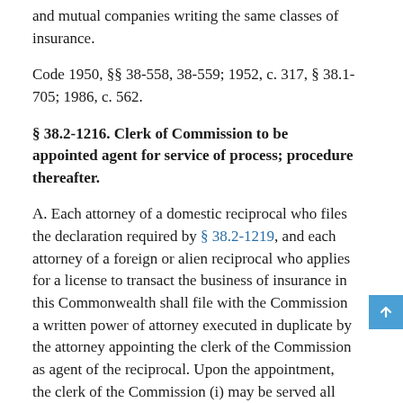and mutual companies writing the same classes of insurance.
Code 1950, §§ 38-558, 38-559; 1952, c. 317, § 38.1-705; 1986, c. 562.
§ 38.2-1216. Clerk of Commission to be appointed agent for service of process; procedure thereafter.
A. Each attorney of a domestic reciprocal who files the declaration required by § 38.2-1219, and each attorney of a foreign or alien reciprocal who applies for a license to transact the business of insurance in this Commonwealth shall file with the Commission a written power of attorney executed in duplicate by the attorney appointing the clerk of the Commission as agent of the reciprocal. Upon the appointment, the clerk of the Commission (i) may be served all lawful process against or notice to such reciprocal, and (ii) shall be authorized to enter an appearance in behalf of the reciprocal. A copy of the power of attorney, duly certified by the